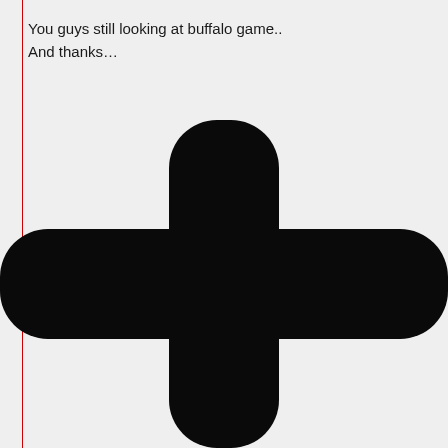You guys still looking at buffalo game..
And thanks…
[Figure (illustration): A large black plus/cross symbol with rounded corners, centered in the lower portion of the page.]